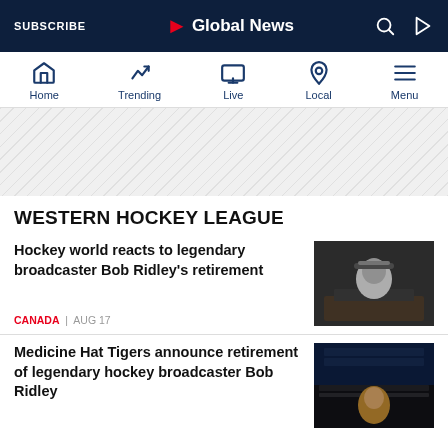SUBSCRIBE | Global News
[Figure (screenshot): Global News mobile app navigation bar with Home, Trending, Live (with red dot), Local, and Menu icons]
[Figure (other): Advertisement banner area with diagonal stripe pattern]
WESTERN HOCKEY LEAGUE
Hockey world reacts to legendary broadcaster Bob Ridley's retirement
CANADA | AUG 17
[Figure (photo): Man with headphones at broadcast desk in radio booth]
Medicine Hat Tigers announce retirement of legendary hockey broadcaster Bob Ridley
[Figure (photo): Man standing in empty hockey arena near broadcast equipment]